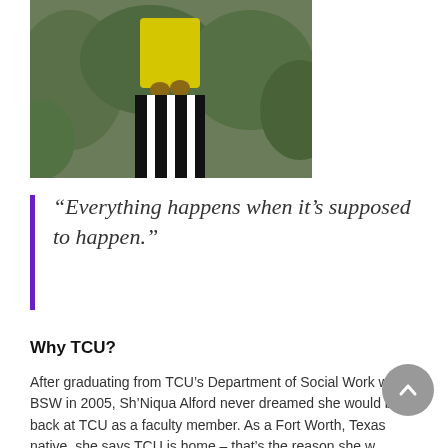[Figure (photo): Partial photo of a person wearing a yellow top and black-and-white striped pants, standing outdoors with green foliage in background]
“Everything happens when it’s supposed to happen.”
Why TCU?
After graduating from TCU’s Department of Social Work with a BSW in 2005, Sh’Niqua Alford never dreamed she would be back at TCU as a faculty member. As a Fort Worth, Texas native, she says TCU is home – that’s the reason she was interested in applying for her current position in the first place. Since graduating and earning her MSW from the University of Texas at Arlington, she notes the biggest change